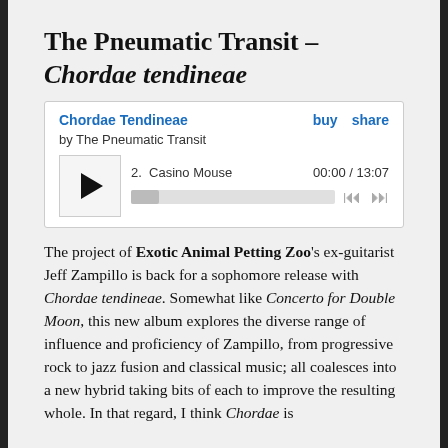The Pneumatic Transit – Chordae tendineae
[Figure (screenshot): Embedded music player widget showing 'Chordae Tendineae' by The Pneumatic Transit. Track 2: Casino Mouse, 00:00 / 13:07. Has play button, progress bar, skip controls, buy and share links.]
The project of Exotic Animal Petting Zoo's ex-guitarist Jeff Zampillo is back for a sophomore release with Chordae tendineae. Somewhat like Concerto for Double Moon, this new album explores the diverse range of influence and proficiency of Zampillo, from progressive rock to jazz fusion and classical music; all coalesces into a new hybrid taking bits of each to improve the resulting whole. In that regard, I think Chordae is